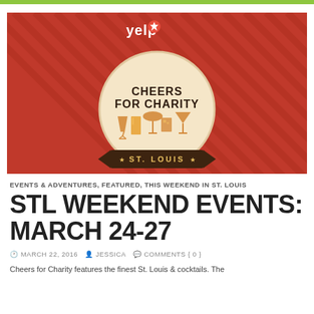[Figure (illustration): Yelp Cheers for Charity St. Louis event banner. Red diagonal-striped background with Yelp logo at top. Center features a snow-globe-style circular badge with text 'CHEERS FOR CHARITY' and illustrated cocktail glasses. Bottom banner reads 'ST. LOUIS' with stars.]
EVENTS & ADVENTURES, FEATURED, THIS WEEKEND IN ST. LOUIS
STL WEEKEND EVENTS: MARCH 24-27
MARCH 22, 2016  JESSICA  COMMENTS { 0 }
Cheers for Charity features the finest St. Louis & cocktails. The